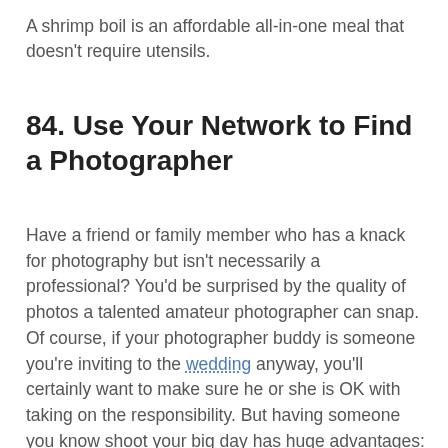A shrimp boil is an affordable all-in-one meal that doesn't require utensils.
84. Use Your Network to Find a Photographer
Have a friend or family member who has a knack for photography but isn't necessarily a professional? You'd be surprised by the quality of photos a talented amateur photographer can snap. Of course, if your photographer buddy is someone you're inviting to the wedding anyway, you'll certainly want to make sure he or she is OK with taking on the responsibility. But having someone you know shoot your big day has huge advantages: you'll be more at ease being photographed, and you may feel comfortable letting him or her snap more intimate moments.